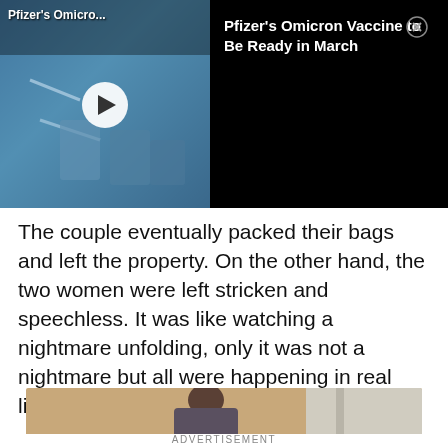[Figure (screenshot): Video thumbnail showing Pfizer's Omicron vaccine related imagery with a play button overlay, labeled 'Pfizer's Omicro...' in top-left corner]
[Figure (screenshot): News panel with black background showing headline 'Pfizer's Omicron Vaccine to Be Ready in March' with a close (X) button]
The couple eventually packed their bags and left the property. On the other hand, the two women were left stricken and speechless. It was like watching a nightmare unfolding, only it was not a nightmare but all were happening in real life.
[Figure (photo): Photo of a person with hair in a bun, seen from the back/side, in a room with beige/tan walls]
ADVERTISEMENT